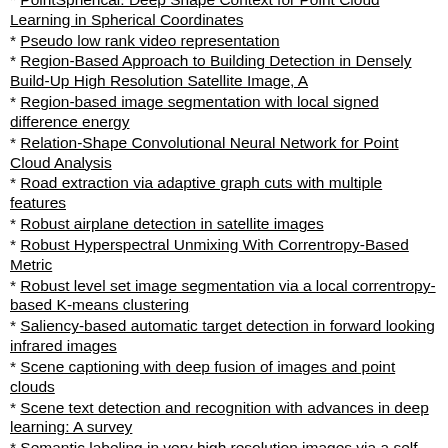PointSpherical: Deep Shape Context for Point Cloud Learning in Spherical Coordinates
Pseudo low rank video representation
Region-Based Approach to Building Detection in Densely Build-Up High Resolution Satellite Image, A
Region-based image segmentation with local signed difference energy
Relation-Shape Convolutional Neural Network for Point Cloud Analysis
Road extraction via adaptive graph cuts with multiple features
Robust airplane detection in satellite images
Robust Hyperspectral Unmixing With Correntropy-Based Metric
Robust level set image segmentation via a local correntropy-based K-means clustering
Saliency-based automatic target detection in forward looking infrared images
Scene captioning with deep fusion of images and point clouds
Scene text detection and recognition with advances in deep learning: A survey
Semantic labeling in very high resolution images via a self-cascaded convolutional neural network
Semi-Supervised Framework for Mapping Data to the Intrinsic Manifold, A